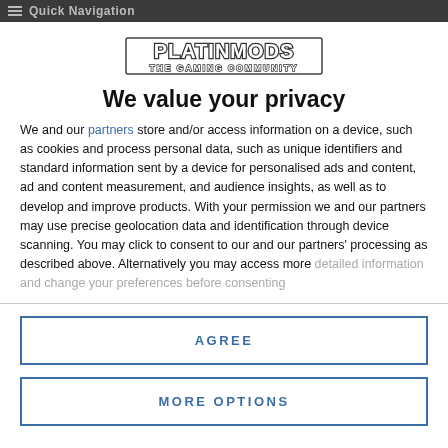Quick Navigation
[Figure (logo): PLATINMODS THE GAMING COMMUNITY logo]
We value your privacy
We and our partners store and/or access information on a device, such as cookies and process personal data, such as unique identifiers and standard information sent by a device for personalised ads and content, ad and content measurement, and audience insights, as well as to develop and improve products. With your permission we and our partners may use precise geolocation data and identification through device scanning. You may click to consent to our and our partners' processing as described above. Alternatively you may access more detailed information and change your preferences before consenting
AGREE
MORE OPTIONS